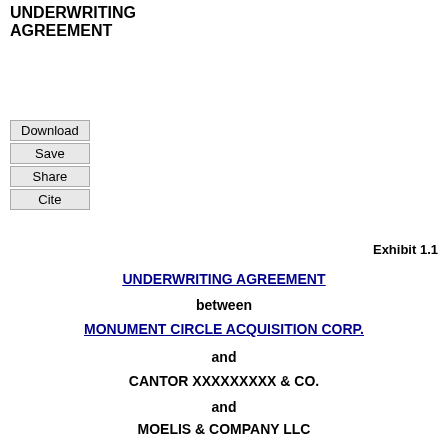UNDERWRITING AGREEMENT
Download
Save
Share
Cite
Exhibit 1.1
UNDERWRITING AGREEMENT
between
MONUMENT CIRCLE ACQUISITION CORP.
and
CANTOR XXXXXXXXX & CO.
and
MOELIS & COMPANY LLC